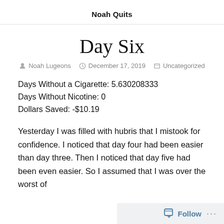Noah Quits
Day Six
Noah Lugeons  December 17, 2019  Uncategorized
Days Without a Cigarette: 5.630208333
Days Without Nicotine: 0
Dollars Saved: -$10.19
Yesterday I was filled with hubris that I mistook for confidence. I noticed that day four had been easier than day three. Then I noticed that day five had been even easier. So I assumed that I was over the worst of